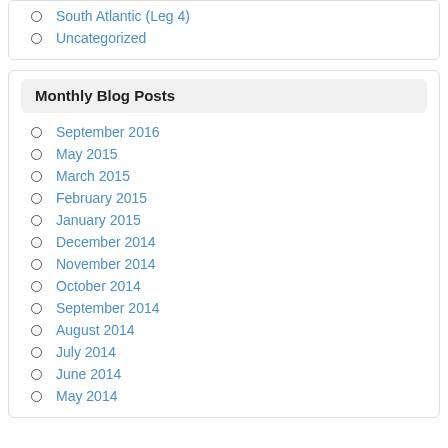South Atlantic (Leg 4)
Uncategorized
Monthly Blog Posts
September 2016
May 2015
March 2015
February 2015
January 2015
December 2014
November 2014
October 2014
September 2014
August 2014
July 2014
June 2014
May 2014